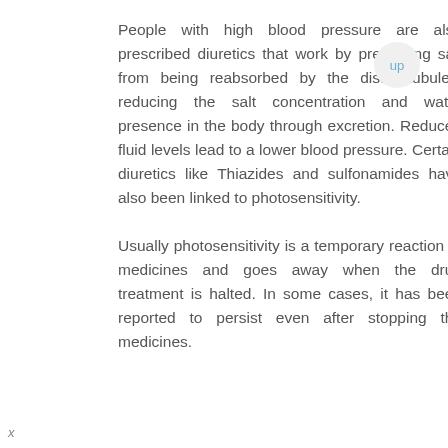People with high blood pressure are also prescribed diuretics that work by preventing salt from being reabsorbed by the distal tubules, reducing the salt concentration and water presence in the body through excretion. Reduced fluid levels lead to a lower blood pressure. Certain diuretics like Thiazides and sulfonamides have also been linked to photosensitivity.
Usually photosensitivity is a temporary reaction to medicines and goes away when the drug treatment is halted. In some cases, it has been reported to persist even after stopping the medicines.
x